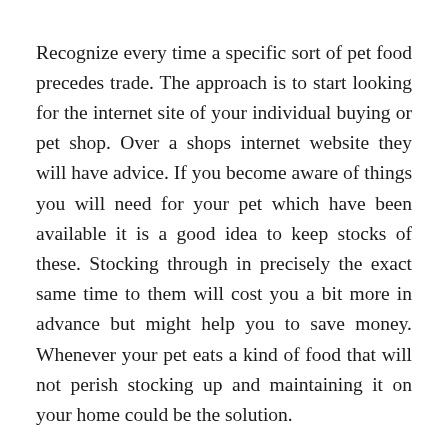Recognize every time a specific sort of pet food precedes trade. The approach is to start looking for the internet site of your individual buying or pet shop. Over a shops internet website they will have advice. If you become aware of things you will need for your pet which have been available it is a good idea to keep stocks of these. Stocking through in precisely the exact same time to them will cost you a bit more in advance but might help you to save money. Whenever your pet eats a kind of food that will not perish stocking up and maintaining it on your home could be the solution.
Examine CatSmart.com.sg Website from the Organization. Buy pet food directly. In these instances you May get it for selling cost. As You will end As a markup in the supermarket there will not be clarified up primary. 1 thing to consider when buying pet food about the pet food online net is that there